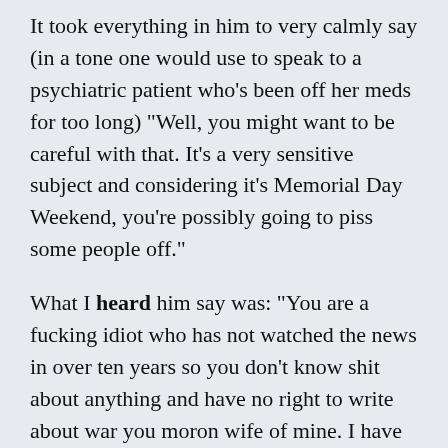It took everything in him to very calmly say (in a tone one would use to speak to a psychiatric patient who's been off her meds for too long) "Well, you might want to be careful with that. It's a very sensitive subject and considering it's Memorial Day Weekend, you're possibly going to piss some people off."
What I heard him say was: "You are a fucking idiot who has not watched the news in over ten years so you don't know shit about anything and have no right to write about war you moron wife of mine. I have deep, deep regrets that I distracted you from the corn on the cob cat. I'm not sure what I was thinking there."
And thems is fighting words even if they aren't what the real words were.  So I indignantly gathered up all of my college textbooks from the basement including my favorite one that I never read called “Europe Since